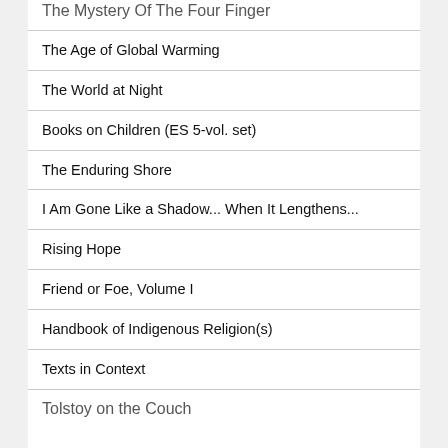The Mystery Of The Four Finger
The Age of Global Warming
The World at Night
Books on Children (ES 5-vol. set)
The Enduring Shore
I Am Gone Like a Shadow... When It Lengthens...
Rising Hope
Friend or Foe, Volume I
Handbook of Indigenous Religion(s)
Texts in Context
Tolstoy on the Couch